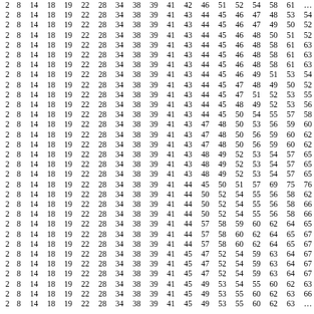| 2 | 8 | 14 | 18 | 19 | 22 | 28 | 34 | 38 | 39 | 41 | 42 | 46 | 51 | 52 | 54 | 58 | 61 | … |
| 2 | 8 | 14 | 18 | 19 | 22 | 28 | 34 | 38 | 39 | 41 | 43 | 44 | 45 | 46 | 47 | 48 | 53 | 54 |
| 2 | 8 | 14 | 18 | 19 | 22 | 28 | 34 | 38 | 39 | 41 | 43 | 44 | 45 | 46 | 47 | 49 | 50 | 52 |
| 2 | 8 | 14 | 18 | 19 | 22 | 28 | 34 | 38 | 39 | 41 | 43 | 44 | 45 | 46 | 48 | 50 | 51 | 52 |
| 2 | 8 | 14 | 18 | 19 | 22 | 28 | 34 | 38 | 39 | 41 | 43 | 44 | 45 | 46 | 48 | 58 | 61 | 63 |
| 2 | 8 | 14 | 18 | 19 | 22 | 28 | 34 | 38 | 39 | 41 | 43 | 44 | 45 | 46 | 48 | 58 | 61 | 63 |
| 2 | 8 | 14 | 18 | 19 | 22 | 28 | 34 | 38 | 39 | 41 | 43 | 44 | 45 | 46 | 48 | 58 | 61 | 63 |
| 2 | 8 | 14 | 18 | 19 | 22 | 28 | 34 | 38 | 39 | 41 | 43 | 44 | 45 | 46 | 49 | 51 | 53 | 54 |
| 2 | 8 | 14 | 18 | 19 | 22 | 28 | 34 | 38 | 39 | 41 | 43 | 44 | 45 | 47 | 48 | 49 | 50 | 52 |
| 2 | 8 | 14 | 18 | 19 | 22 | 28 | 34 | 38 | 39 | 41 | 43 | 44 | 45 | 47 | 51 | 52 | 53 | 55 |
| 2 | 8 | 14 | 18 | 19 | 22 | 28 | 34 | 38 | 39 | 41 | 43 | 44 | 45 | 48 | 49 | 52 | 53 | 56 |
| 2 | 8 | 14 | 18 | 19 | 22 | 28 | 34 | 38 | 39 | 41 | 43 | 44 | 45 | 50 | 54 | 55 | 57 | 58 |
| 2 | 8 | 14 | 18 | 19 | 22 | 28 | 34 | 38 | 39 | 41 | 43 | 47 | 48 | 50 | 53 | 56 | 59 | 60 |
| 2 | 8 | 14 | 18 | 19 | 22 | 28 | 34 | 38 | 39 | 41 | 43 | 47 | 48 | 50 | 56 | 59 | 60 | 62 |
| 2 | 8 | 14 | 18 | 19 | 22 | 28 | 34 | 38 | 39 | 41 | 43 | 47 | 48 | 50 | 56 | 59 | 60 | 62 |
| 2 | 8 | 14 | 18 | 19 | 22 | 28 | 34 | 38 | 39 | 41 | 43 | 48 | 49 | 52 | 53 | 54 | 57 | 65 |
| 2 | 8 | 14 | 18 | 19 | 22 | 28 | 34 | 38 | 39 | 41 | 43 | 48 | 49 | 52 | 53 | 54 | 57 | 65 |
| 2 | 8 | 14 | 18 | 19 | 22 | 28 | 34 | 38 | 39 | 41 | 43 | 48 | 49 | 52 | 53 | 54 | 57 | 65 |
| 2 | 8 | 14 | 18 | 19 | 22 | 28 | 34 | 38 | 39 | 41 | 44 | 45 | 50 | 51 | 57 | 69 | 75 | 76 |
| 2 | 8 | 14 | 18 | 19 | 22 | 28 | 34 | 38 | 39 | 41 | 44 | 50 | 52 | 54 | 55 | 56 | 58 | 62 |
| 2 | 8 | 14 | 18 | 19 | 22 | 28 | 34 | 38 | 39 | 41 | 44 | 50 | 52 | 54 | 55 | 56 | 58 | 66 |
| 2 | 8 | 14 | 18 | 19 | 22 | 28 | 34 | 38 | 39 | 41 | 44 | 50 | 52 | 54 | 55 | 56 | 58 | 66 |
| 2 | 8 | 14 | 18 | 19 | 22 | 28 | 34 | 38 | 39 | 41 | 44 | 57 | 58 | 59 | 60 | 62 | 64 | 65 |
| 2 | 8 | 14 | 18 | 19 | 22 | 28 | 34 | 38 | 39 | 41 | 44 | 57 | 58 | 60 | 62 | 64 | 65 | 67 |
| 2 | 8 | 14 | 18 | 19 | 22 | 28 | 34 | 38 | 39 | 41 | 44 | 57 | 58 | 60 | 62 | 64 | 65 | 67 |
| 2 | 8 | 14 | 18 | 19 | 22 | 28 | 34 | 38 | 39 | 41 | 45 | 47 | 52 | 54 | 59 | 63 | 64 | 67 |
| 2 | 8 | 14 | 18 | 19 | 22 | 28 | 34 | 38 | 39 | 41 | 45 | 47 | 52 | 54 | 59 | 63 | 64 | 67 |
| 2 | 8 | 14 | 18 | 19 | 22 | 28 | 34 | 38 | 39 | 41 | 45 | 47 | 52 | 54 | 59 | 63 | 64 | 67 |
| 2 | 8 | 14 | 18 | 19 | 22 | 28 | 34 | 38 | 39 | 41 | 45 | 49 | 53 | 54 | 55 | 60 | 62 | 63 |
| 2 | 8 | 14 | 18 | 19 | 22 | 28 | 34 | 38 | 39 | 41 | 45 | 49 | 53 | 55 | 60 | 62 | 63 | 66 |
| 2 | 8 | 14 | 18 | 19 | 22 | 28 | 34 | 38 | 39 | 41 | 45 | 49 | 53 | 55 | 60 | 62 | 63 | … |